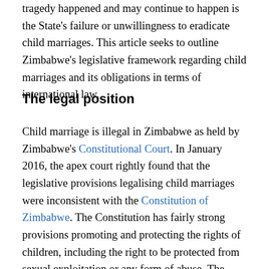tragedy happened and may continue to happen is the State's failure or unwillingness to eradicate child marriages. This article seeks to outline Zimbabwe's legislative framework regarding child marriages and its obligations in terms of international law.
The legal position
Child marriage is illegal in Zimbabwe as held by Zimbabwe's Constitutional Court. In January 2016, the apex court rightly found that the legislative provisions legalising child marriages were inconsistent with the Constitution of Zimbabwe. The Constitution has fairly strong provisions promoting and protecting the rights of children, including the right to be protected from sexual exploitation or any form of abuse. The Court also observed that historically there has been a lack of common social